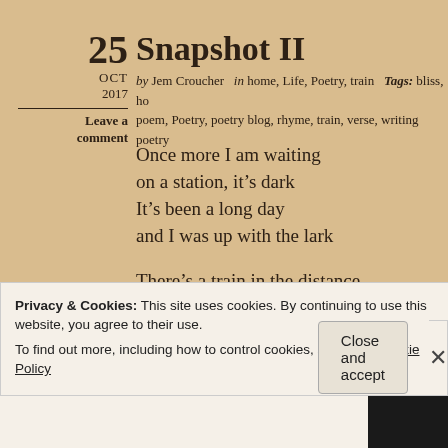Snapshot II
25 OCT 2017
by Jem Croucher  in home, Life, Poetry, train   Tags: bliss, ho... poem, Poetry, poetry blog, rhyme, train, verse, writing poetry
Leave a comment
Once more I am waiting
on a station, it's dark
It's been a long day
and I was up with the lark

There's a train in the distance
to take me back home
so I caught its arrival
Privacy & Cookies: This site uses cookies. By continuing to use this website, you agree to their use.
To find out more, including how to control cookies, see here: Cookie Policy
Close and accept